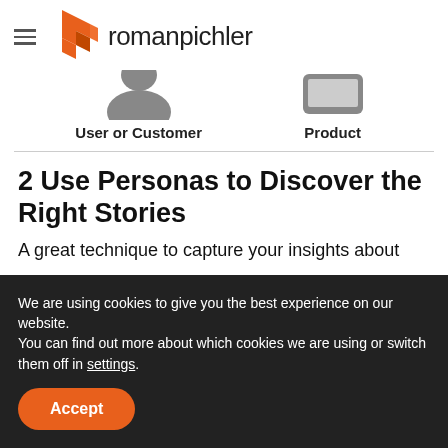romanpichler
[Figure (illustration): Illustration of person icon labeled 'User or Customer' and product icon labeled 'Product']
2 Use Personas to Discover the Right Stories
A great technique to capture your insights about
We are using cookies to give you the best experience on our website.
You can find out more about which cookies we are using or switch them off in settings.
Accept